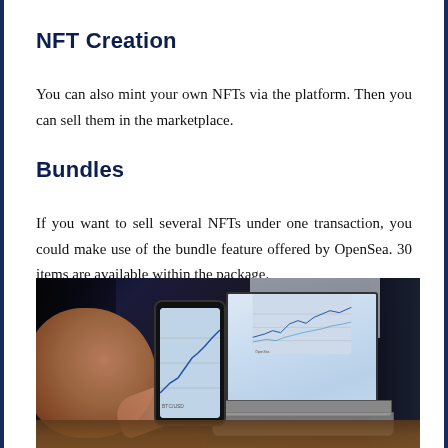NFT Creation
You can also mint your own NFTs via the platform. Then you can sell them in the marketplace.
Bundles
If you want to sell several NFTs under one transaction, you could make use of the bundle feature offered by OpenSea. 30 items are available within the package.
[Figure (photo): A person holding a smartphone displaying trading charts while sitting in front of a laptop also showing financial/trading charts on a wooden desk.]